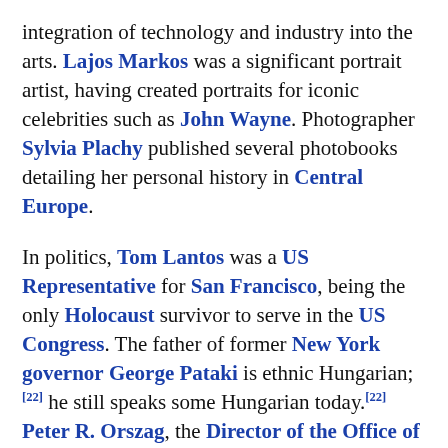integration of technology and industry into the arts. Lajos Markos was a significant portrait artist, having created portraits for iconic celebrities such as John Wayne. Photographer Sylvia Plachy published several photobooks detailing her personal history in Central Europe.
In politics, Tom Lantos was a US Representative for San Francisco, being the only Holocaust survivor to serve in the US Congress. The father of former New York governor George Pataki is ethnic Hungarian;[22] he still speaks some Hungarian today.[22] Peter R. Orszag, the Director of the Office of Management and Budget under President Obama has Hungarian roots.[23] Besides US Representative Lantos there were other Hungarians in the Congress, like Ernest Istook, Joseph M. Gaydos, Eugene Jerome Hainer or